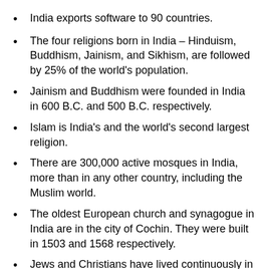India exports software to 90 countries.
The four religions born in India – Hinduism, Buddhism, Jainism, and Sikhism, are followed by 25% of the world’s population.
Jainism and Buddhism were founded in India in 600 B.C. and 500 B.C. respectively.
Islam is India’s and the world’s second largest religion.
There are 300,000 active mosques in India, more than in any other country, including the Muslim world.
The oldest European church and synagogue in India are in the city of Cochin. They were built in 1503 and 1568 respectively.
Jews and Christians have lived continuously in India since 200 B.C. and 52 A.D. respectively